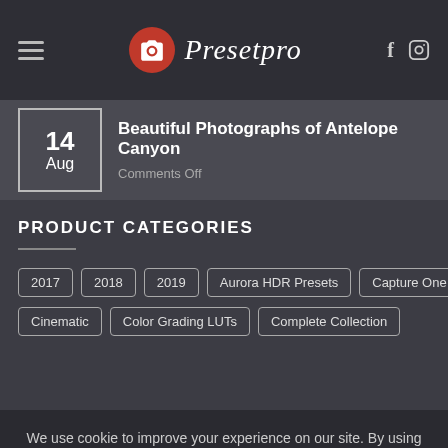Presetpro
14 Aug
Beautiful Photographs of Antelope Canyon
Comments Off
PRODUCT CATEGORIES
2017
2018
2019
Aurora HDR Presets
Capture One Styles
Cinematic
Color Grading LUTs
Complete Collection
We use cookie to improve your experience on our site. By using our site you consent cookies. Learn more
Allow Cookies
Decline